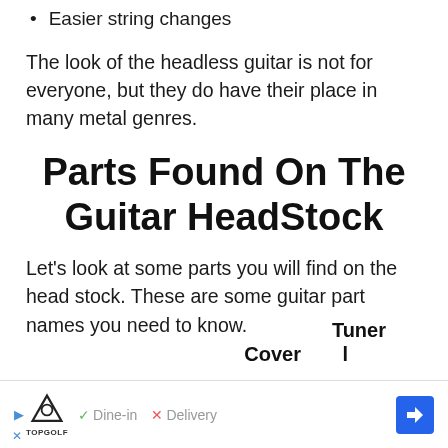Easier string changes
The look of the headless guitar is not for everyone, but they do have their place in many metal genres.
Parts Found On The Guitar HeadStock
Let’s look at some parts you will find on the head stock. These are some guitar part names you need to know.
Tuner
Cover   L